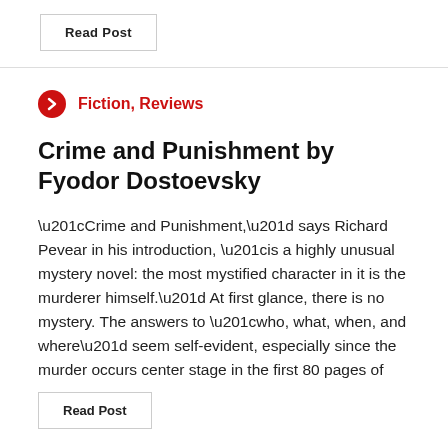Read Post
Fiction, Reviews
Crime and Punishment by Fyodor Dostoevsky
“Crime and Punishment,” says Richard Pevear in his introduction, “is a highly unusual mystery novel: the most mystified character in it is the murderer himself.” At first glance, there is no mystery. The answers to “who, what, when, and where” seem self-evident, especially since the murder occurs center stage in the first 80 pages of